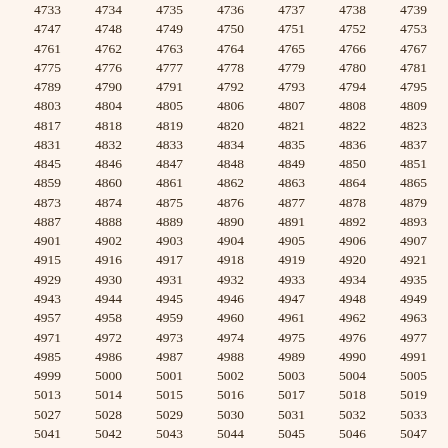| 4733 | 4734 | 4735 | 4736 | 4737 | 4738 | 4739 | 47… |
| 4747 | 4748 | 4749 | 4750 | 4751 | 4752 | 4753 | 47… |
| 4761 | 4762 | 4763 | 4764 | 4765 | 4766 | 4767 | 476… |
| 4775 | 4776 | 4777 | 4778 | 4779 | 4780 | 4781 | 478… |
| 4789 | 4790 | 4791 | 4792 | 4793 | 4794 | 4795 | 479… |
| 4803 | 4804 | 4805 | 4806 | 4807 | 4808 | 4809 | 481… |
| 4817 | 4818 | 4819 | 4820 | 4821 | 4822 | 4823 | 482… |
| 4831 | 4832 | 4833 | 4834 | 4835 | 4836 | 4837 | 483… |
| 4845 | 4846 | 4847 | 4848 | 4849 | 4850 | 4851 | 485… |
| 4859 | 4860 | 4861 | 4862 | 4863 | 4864 | 4865 | 486… |
| 4873 | 4874 | 4875 | 4876 | 4877 | 4878 | 4879 | 488… |
| 4887 | 4888 | 4889 | 4890 | 4891 | 4892 | 4893 | 489… |
| 4901 | 4902 | 4903 | 4904 | 4905 | 4906 | 4907 | 490… |
| 4915 | 4916 | 4917 | 4918 | 4919 | 4920 | 4921 | 492… |
| 4929 | 4930 | 4931 | 4932 | 4933 | 4934 | 4935 | 493… |
| 4943 | 4944 | 4945 | 4946 | 4947 | 4948 | 4949 | 495… |
| 4957 | 4958 | 4959 | 4960 | 4961 | 4962 | 4963 | 496… |
| 4971 | 4972 | 4973 | 4974 | 4975 | 4976 | 4977 | 497… |
| 4985 | 4986 | 4987 | 4988 | 4989 | 4990 | 4991 | 499… |
| 4999 | 5000 | 5001 | 5002 | 5003 | 5004 | 5005 | 500… |
| 5013 | 5014 | 5015 | 5016 | 5017 | 5018 | 5019 | 502… |
| 5027 | 5028 | 5029 | 5030 | 5031 | 5032 | 5033 | 503… |
| 5041 | 5042 | 5043 | 5044 | 5045 | 5046 | 5047 | 504… |
| 5055 | 5056 | 5057 | 5058 | 5059 | 5060 | 5061 | 506… |
| 5069 | 5070 | 5071 | 5072 | 5073 | 5074 | 5075 | 507… |
| 5083 | 5084 | 5085 | 5086 | 5087 | 5088 | 5089 | 509… |
| 5097 | 5098 | 5099 | 5100 | 5101 | 5102 | 5103 | 510… |
| 5111 | 5112 | 5113 | 5114 | 5115 | 5116 | 5117 | 514… |
| 5125 | 5126 | 5127 | 5128 | 5129 | 5130 | 5131 | 513… |
| 5139 | 5140 | 5141 | 5142 | 5143 | 5144 | 5145 | 514… |